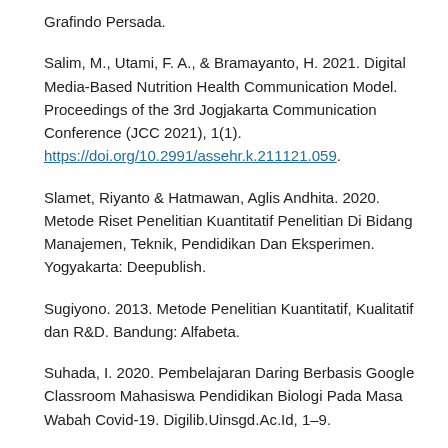Grafindo Persada.
Salim, M., Utami, F. A., & Bramayanto, H. 2021. Digital Media-Based Nutrition Health Communication Model. Proceedings of the 3rd Jogjakarta Communication Conference (JCC 2021), 1(1). https://doi.org/10.2991/assehr.k.211121.059.
Slamet, Riyanto & Hatmawan, Aglis Andhita. 2020. Metode Riset Penelitian Kuantitatif Penelitian Di Bidang Manajemen, Teknik, Pendidikan Dan Eksperimen. Yogyakarta: Deepublish.
Sugiyono. 2013. Metode Penelitian Kuantitatif, Kualitatif dan R&D. Bandung: Alfabeta.
Suhada, I. 2020. Pembelajaran Daring Berbasis Google Classroom Mahasiswa Pendidikan Biologi Pada Masa Wabah Covid-19. Digilib.Uinsgd.Ac.Id, 1–9.
Uwes, Sanusi. 2003. Visi dan Pondasi Pendidikan (Dalam